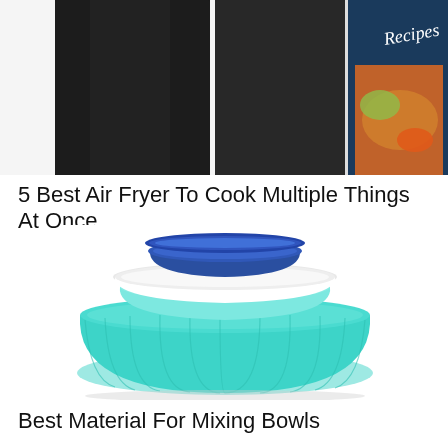[Figure (photo): Top portion of an image showing black air fryer appliances on the left and a cookbook with 'Recipes' text and food imagery on the right]
5 Best Air Fryer To Cook Multiple Things At Once
[Figure (photo): Stack of nested mixing bowls in teal/turquoise, white, and dark blue colors, showing three bowls of decreasing size stacked together]
Best Material For Mixing Bowls